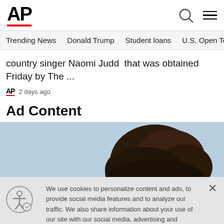[Figure (logo): AP (Associated Press) logo with red underline bar]
Trending News   Donald Trump   Student loans   U.S. Open Tenn
country singer Naomi Judd  that was obtained Friday by The ...
AP  2 days ago
Ad Content
[Figure (photo): Partial photo of a person's head/hair against a light blue sky background]
We use cookies to personalize content and ads, to provide social media features and to analyze our traffic. We also share information about your use of our site with our social media, advertising and analytics partners. Privacy Policy
[Figure (illustration): Accessibility icon - person in circle with gear]
Cookies Settings
Accept All Cookies